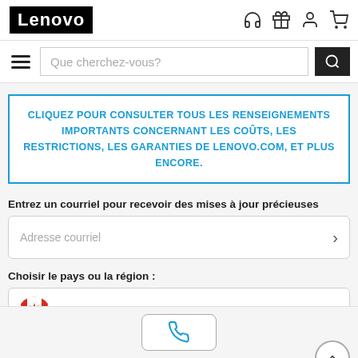[Figure (logo): Lenovo logo in white text on black background]
[Figure (screenshot): Navigation search bar with hamburger menu and search button]
CLIQUEZ POUR CONSULTER TOUS LES RENSEIGNEMENTS IMPORTANTS CONCERNANT LES COÛTS, LES RESTRICTIONS, LES GARANTIES DE LENOVO.COM, ET PLUS ENCORE.
Entrez un courriel pour recevoir des mises à jour précieuses
Adresse courriel
Choisir le pays ou la région :
CANADA - FRANÇAIS